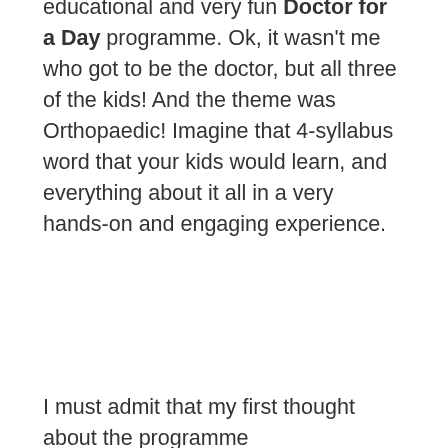educational and very fun Doctor for a Day programme. Ok, it wasn't me who got to be the doctor, but all three of the kids! And the theme was Orthopaedic! Imagine that 4-syllabus word that your kids would learn, and everything about it all in a very hands-on and engaging experience.
I must admit that my first thought about the programme